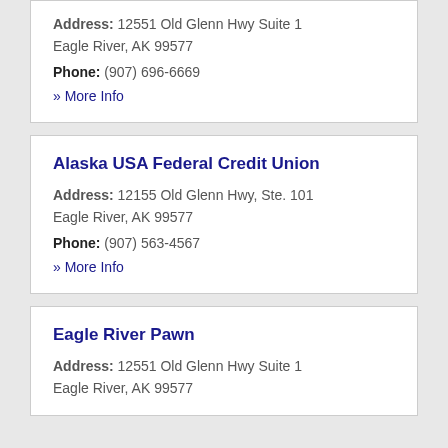Address: 12551 Old Glenn Hwy Suite 1 Eagle River, AK 99577
Phone: (907) 696-6669
» More Info
Alaska USA Federal Credit Union
Address: 12155 Old Glenn Hwy, Ste. 101 Eagle River, AK 99577
Phone: (907) 563-4567
» More Info
Eagle River Pawn
Address: 12551 Old Glenn Hwy Suite 1 Eagle River, AK 99577